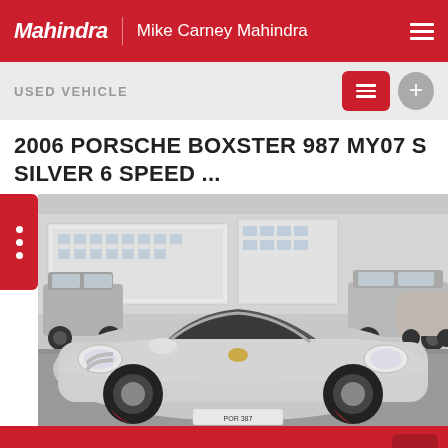Mahindra | Mike Carney Mahindra
USED VEHICLE
2006 PORSCHE BOXSTER 987 MY07 S SILVER 6 SPEED ...
[Figure (photo): Silver 2006 Porsche Boxster 987 convertible photographed in a car dealership lot surrounded by other vehicles, with commercial buildings in the background. Overcast/rainy conditions.]
CONTACT US